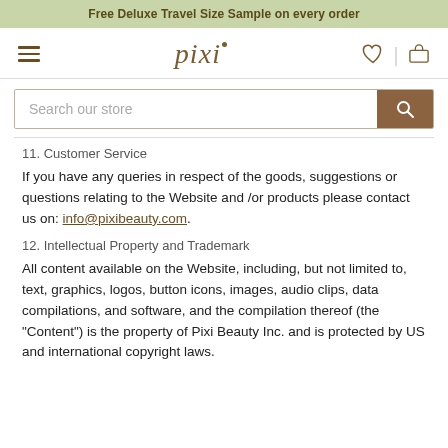Free Deluxe Travel Size Sample on every order
[Figure (logo): Pixi beauty website navigation with hamburger menu, pixi logo, heart icon, divider, and cart icon]
[Figure (screenshot): Search bar with placeholder 'Search our store' and a brown search button with magnifying glass icon]
11. Customer Service
If you have any queries in respect of the goods, suggestions or questions relating to the Website and /or products please contact us on: info@pixibeauty.com.
12. Intellectual Property and Trademark
All content available on the Website, including, but not limited to, text, graphics, logos, button icons, images, audio clips, data compilations, and software, and the compilation thereof (the "Content") is the property of Pixi Beauty Inc. and is protected by US and international copyright laws.